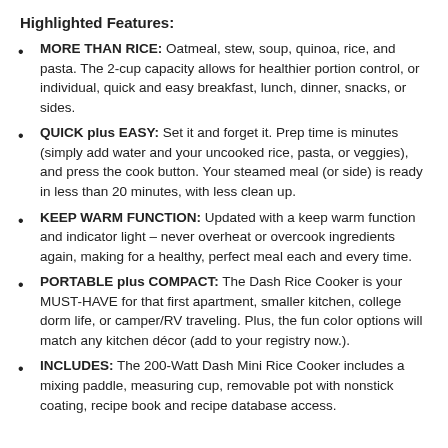Highlighted Features:
MORE THAN RICE: Oatmeal, stew, soup, quinoa, rice, and pasta. The 2-cup capacity allows for healthier portion control, or individual, quick and easy breakfast, lunch, dinner, snacks, or sides.
QUICK plus EASY: Set it and forget it. Prep time is minutes (simply add water and your uncooked rice, pasta, or veggies), and press the cook button. Your steamed meal (or side) is ready in less than 20 minutes, with less clean up.
KEEP WARM FUNCTION: Updated with a keep warm function and indicator light – never overheat or overcook ingredients again, making for a healthy, perfect meal each and every time.
PORTABLE plus COMPACT: The Dash Rice Cooker is your MUST-HAVE for that first apartment, smaller kitchen, college dorm life, or camper/RV traveling. Plus, the fun color options will match any kitchen décor (add to your registry now.).
INCLUDES: The 200-Watt Dash Mini Rice Cooker includes a mixing paddle, measuring cup, removable pot with nonstick coating, recipe book and recipe database access.